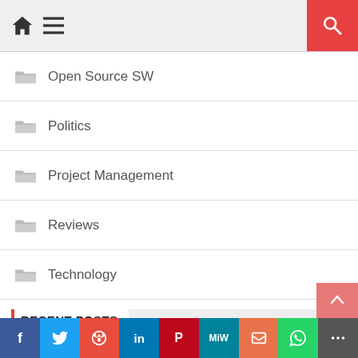Home Menu Search
Open Source SW
Politics
Project Management
Reviews
Technology
RECENT POSTS
How Can a Document Generation App For Sales Force Use Current Applications?
Facebook Twitter Reddit LinkedIn Pinterest MeWe Mix WhatsApp More